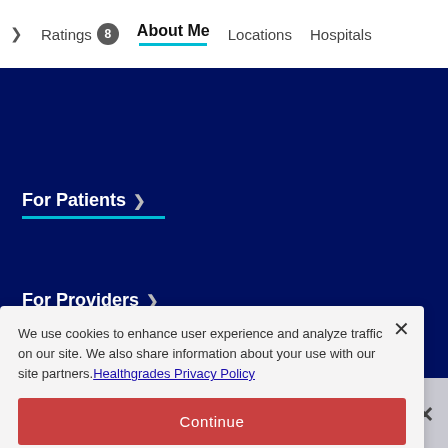Ratings 8 | About Me | Locations | Hospitals
For Patients >
For Providers >
We use cookies to enhance user experience and analyze traffic on our site. We also share information about your use with our site partners. Healthgrades Privacy Policy
Continue
Access my Privacy Preferences